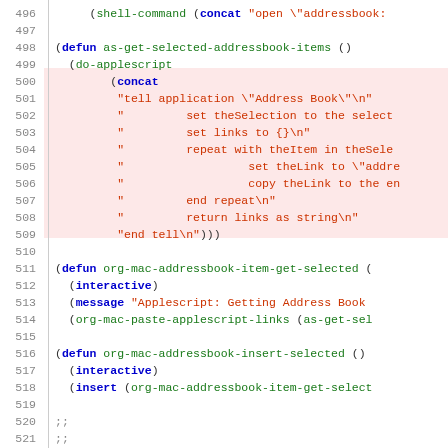[Figure (screenshot): Source code listing in Lisp/Emacs Lisp with line numbers 496-525, showing functions for getting address book items via AppleScript, with syntax highlighting in blue, green, red/orange colors and pink highlighted lines 500-509.]